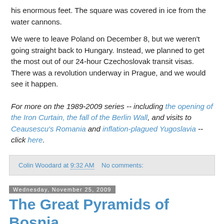his enormous feet. The square was covered in ice from the water cannons.
We were to leave Poland on December 8, but we weren't going straight back to Hungary. Instead, we planned to get the most out of our 24-hour Czechoslovak transit visas. There was a revolution underway in Prague, and we would see it happen.
For more on the 1989-2009 series -- including the opening of the Iron Curtain, the fall of the Berlin Wall, and visits to Ceausescu's Romania and inflation-plagued Yugoslavia -- click here.
Colin Woodard at 9:32 AM   No comments:
Wednesday, November 25, 2009
The Great Pyramids of Bosnia